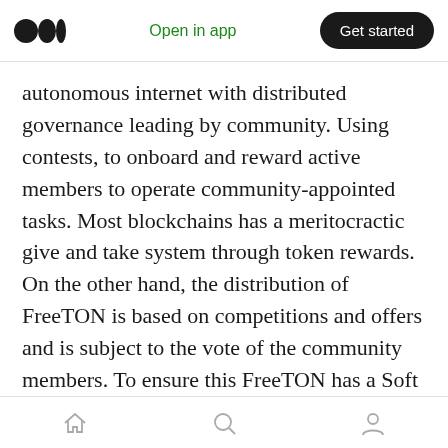Open in app | Get started
autonomous internet with distributed governance leading by community. Using contests, to onboard and reward active members to operate community-appointed tasks. Most blockchains has a meritocractic give and take system through token rewards. On the other hand, the distribution of FreeTON is based on competitions and offers and is subject to the vote of the community members. To ensure this FreeTON has a Soft Majority Vote (SMV) system.
Where others have failed, Free TON is going to
Home | Search | Profile